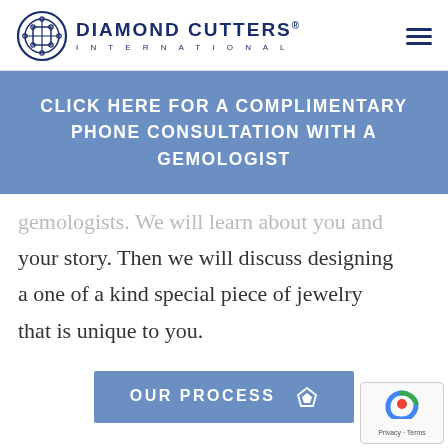Diamond Cutters International
CLICK HERE FOR A COMPLIMENTARY PHONE CONSULTATION WITH A GEMOLOGIST
gemologists. We will learn about you and your story. Then we will discuss designing a one of a kind special piece of jewelry that is unique to you.
OUR PROCESS